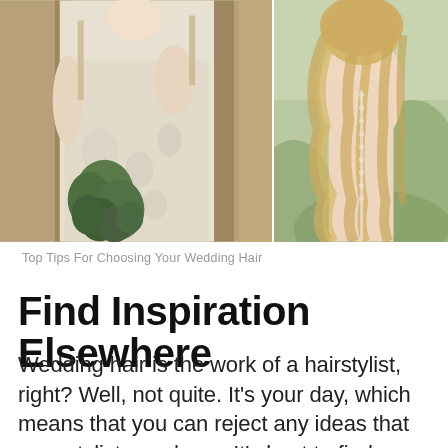[Figure (photo): Two wedding photos side by side: left shows a bride in a lace wedding dress holding a green bouquet, seated; right shows the back of a bride with long wavy blonde hair and a delicate crystal back dress detail.]
Top Tips For Choosing Your Wedding Hair
Find Inspiration Elsewhere
Wedding hair is the work of a hairstylist, right? Well, not quite. It's your day, which means that you can reject any ideas that your stylist may have. It's best to find inspiration elsewhere